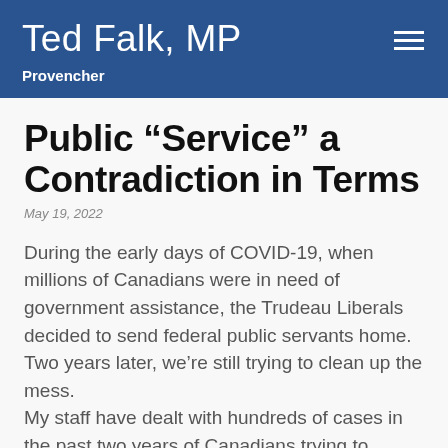Ted Falk, MP
Provencher
Public “Service” a Contradiction in Terms
May 19, 2022
During the early days of COVID-19, when millions of Canadians were in need of government assistance, the Trudeau Liberals decided to send federal public servants home. Two years later, we’re still trying to clean up the mess.
My staff have dealt with hundreds of cases in the past two years of Canadians trying to